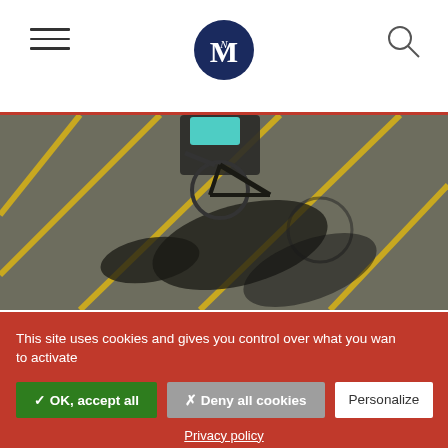M (logo) — navigation header with hamburger menu and search icon
[Figure (photo): Aerial view of a bicycle with teal basket casting a shadow on asphalt parking lot with yellow lines]
TOPICS > TECH & INNOVATION
Digital Services Act: New
This site uses cookies and gives you control over what you want to activate
✓ OK, accept all | ✗ Deny all cookies | Personalize
Privacy policy